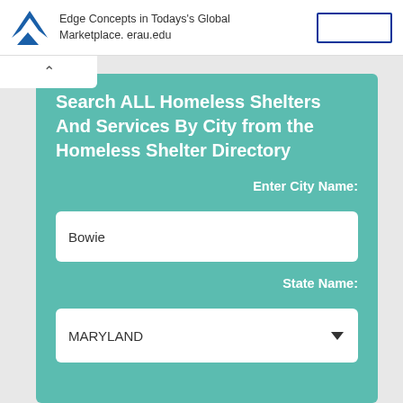Edge Concepts in Todays's Global Marketplace. erau.edu
Search ALL Homeless Shelters And Services By City from the Homeless Shelter Directory
Enter City Name:
Bowie
State Name:
MARYLAND